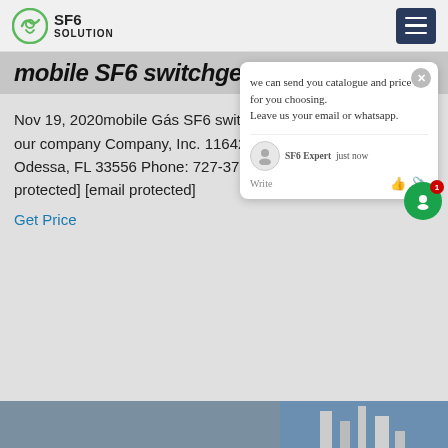SF6 SOLUTION
mobile SF6 switchgear repair
Nov 19, 2020mobile Gás SF6 switchgear repair. our company Company, Inc. 11642 Pyramid Drive Odessa, FL 33556 Phone: 727-376-[email protected] [email protected]
Get Price
[Figure (screenshot): Chat popup with message: we can send you catalogue and price list for you choosing. Leave us your email or whatsapp. SF6 Expert just now. Write bar with thumbs up and paperclip icons.]
[Figure (photo): Industrial electrical switchgear equipment, yellow metal structures with triangular shapes, piping in the background, outdoor industrial setting.]